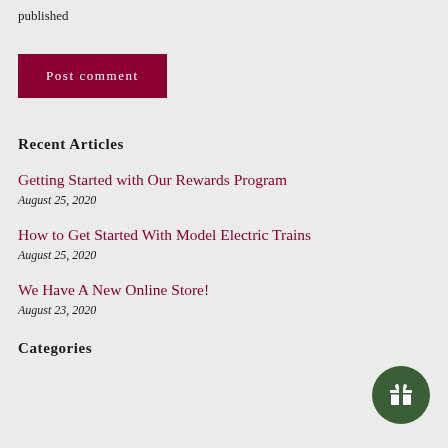published
Post comment
Recent Articles
Getting Started with Our Rewards Program
August 25, 2020
How to Get Started With Model Electric Trains
August 25, 2020
We Have A New Online Store!
August 23, 2020
[Figure (illustration): Green circular rewards/gift button icon in the bottom right corner]
Categories